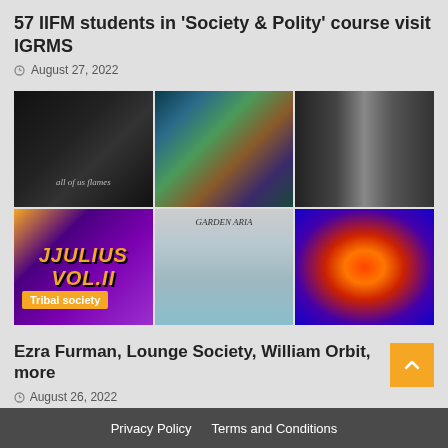57 IIFM students in 'Society & Polity' course visit IGRMS
August 27, 2022
[Figure (photo): 3x2 grid of album cover images. Top row: dark black-and-white cover with text 'all of us flames', colorful abstract painting, nighttime street photo with person and cars. Bottom row: JJulius album cover with purple flower, Garden Aria album cover with landscape, thermal/infrared brain scan image.]
Ezra Furman, Lounge Society, William Orbit, more
August 26, 2022
Privacy Policy   Terms and Conditions